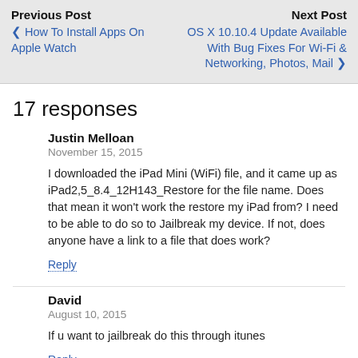Previous Post
‹ How To Install Apps On Apple Watch
Next Post
OS X 10.10.4 Update Available With Bug Fixes For Wi-Fi & Networking, Photos, Mail ›
17 responses
Justin Melloan
November 15, 2015
I downloaded the iPad Mini (WiFi) file, and it came up as iPad2,5_8.4_12H143_Restore for the file name. Does that mean it won't work the restore my iPad from? I need to be able to do so to Jailbreak my device. If not, does anyone have a link to a file that does work?
Reply
David
August 10, 2015
If u want to jailbreak do this through itunes
Reply